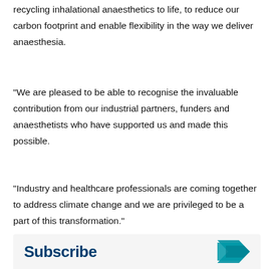recycling inhalational anaesthetics to life, to reduce our carbon footprint and enable flexibility in the way we deliver anaesthesia.
"We are pleased to be able to recognise the invaluable contribution from our industrial partners, funders and anaesthetists who have supported us and made this possible.
"Industry and healthcare professionals are coming together to address climate change and we are privileged to be a part of this transformation."
[Figure (other): Subscribe banner with dark blue bold 'Subscribe' text on the left and a teal arrow graphic on the right, on a light grey background.]